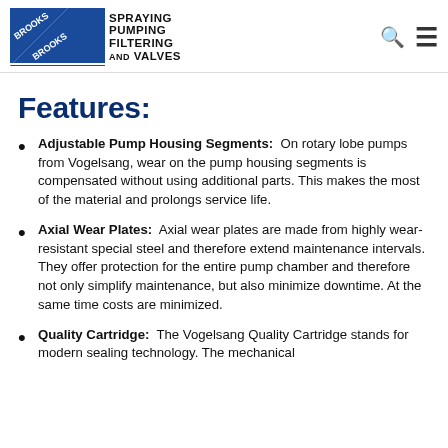Brooks Brooks — Spraying Pumping Filtering and Valves
Features:
Adjustable Pump Housing Segments: On rotary lobe pumps from Vogelsang, wear on the pump housing segments is compensated without using additional parts. This makes the most of the material and prolongs service life.
Axial Wear Plates: Axial wear plates are made from highly wear-resistant special steel and therefore extend maintenance intervals. They offer protection for the entire pump chamber and therefore not only simplify maintenance, but also minimize downtime. At the same time costs are minimized.
Quality Cartridge: The Vogelsang Quality Cartridge stands for modern sealing technology. The mechanical